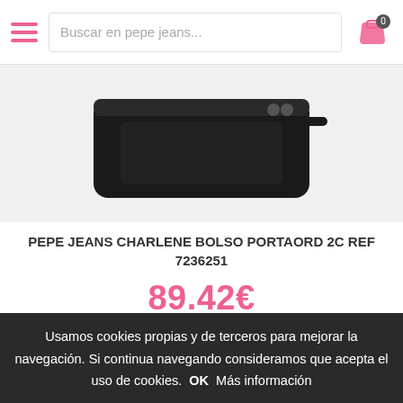Buscar en pepe jeans...
[Figure (photo): Black leather Pepe Jeans Charlene bag/organizer product photo on light background]
PEPE JEANS CHARLENE BOLSO PORTAORD 2C REF 7236251
89.42€
[Figure (photo): Second product image showing black rings/belt accessories with AGOTADO (out of stock) badge]
Usamos cookies propias y de terceros para mejorar la navegación. Si continua navegando consideramos que acepta el uso de cookies. OK  Más información